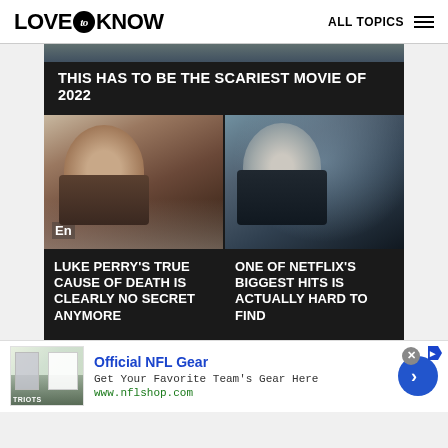LOVE to KNOW   ALL TOPICS
THIS HAS TO BE THE SCARIEST MOVIE OF 2022
[Figure (photo): Side-by-side photos: left shows a man with dark hair and beard (Luke Perry) at entertainment event; right shows a pale young woman with an intense expression from a Netflix production]
LUKE PERRY'S TRUE CAUSE OF DEATH IS CLEARLY NO SECRET ANYMORE
ONE OF NETFLIX'S BIGGEST HITS IS ACTUALLY HARD TO FIND
Official NFL Gear
Get Your Favorite Team's Gear Here
www.nflshop.com